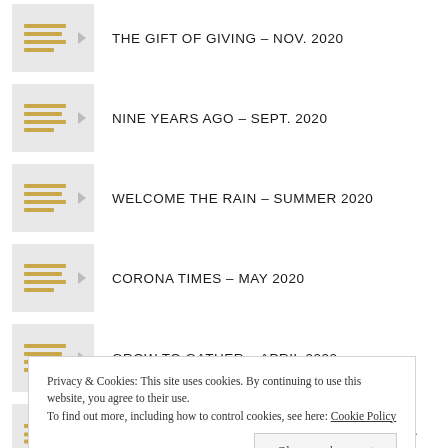THE GIFT OF GIVING – NOV. 2020
NINE YEARS AGO – SEPT. 2020
WELCOME THE RAIN – SUMMER 2020
CORONA TIMES – MAY 2020
GROW TO GATHER – APRIL 2020
TIROL MOUNTAIN YOGA GET AWAY #2- NOV. 2019
Privacy & Cookies: This site uses cookies. By continuing to use this website, you agree to their use. To find out more, including how to control cookies, see here: Cookie Policy
Close and accept